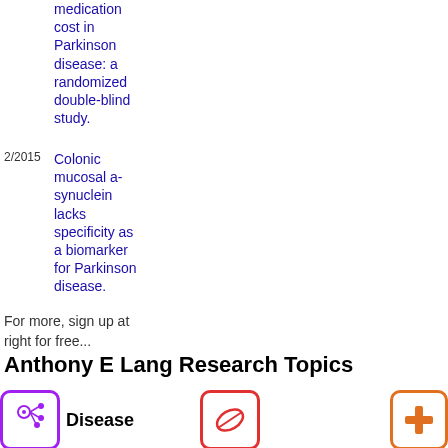medication cost in Parkinson disease: a randomized double-blind study.
2/2015 Colonic mucosal a-synuclein lacks specificity as a biomarker for Parkinson disease.
For more, sign up at right for free...
Anthony E Lang Research Topics
[Figure (infographic): Disease category icon - purple rounded square with molecule/disease symbol]
Disease
107 Parkinson Disease (Parkinson's Disease) 11/2015 - 01/2002
24 Dyskinesias (Dyskinesia) 09/2015 - 10/2003
[Figure (infographic): Drug/Important Bio-Agent icon - red rounded square with pill symbol]
Drug/Important Bio-Agent (IBA)
34 Levodopa (L Dopa) FDA Link Generic 08/2015 - 03/2002
19 Dopamine Agonists (Dopamine Agonist) IBA
[Figure (infographic): Treatment/other category icon - orange rounded square with plus/cross symbol]
38 D 08/
5 P 07/
4 E 08/